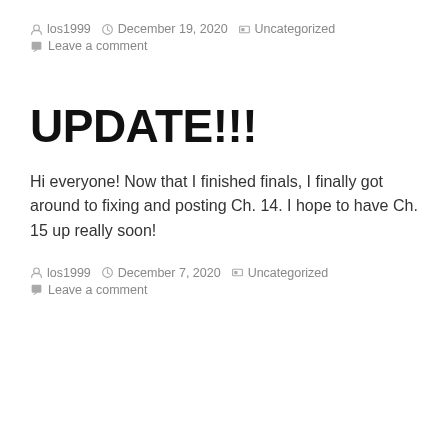los1999   December 19, 2020   Uncategorized   Leave a comment
UPDATE!!!
Hi everyone! Now that I finished finals, I finally got around to fixing and posting Ch. 14. I hope to have Ch. 15 up really soon!
los1999   December 7, 2020   Uncategorized   Leave a comment